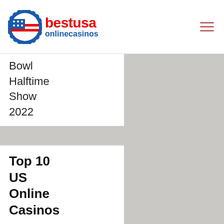bestusa onlinecasinos
Bowl Halftime Show 2022
Top 10 US Online Casinos
BoVegas
Casino
Vegas Casino
Online